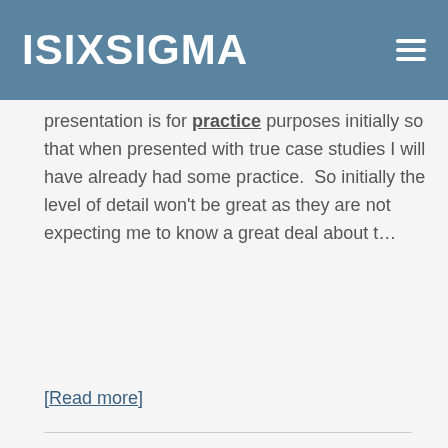ISIXSIGMA
presentation is for practice purposes initially so that when presented with true case studies I will have already had some practice.  So initially the level of detail won't be great as they are not expecting me to know a great deal about t…
[Read more]
SSNewby replied to the topic Approaching Case Studies in the forum Healthcare
© 15 years ago
I'm actually looking into health care